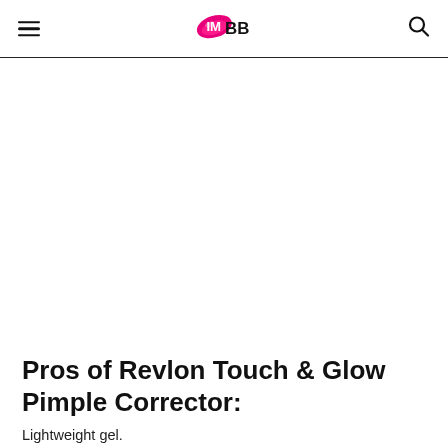IMBB
Pros of Revlon Touch & Glow Pimple Corrector:
Lightweight gel.
Seeps into the skin quickly.